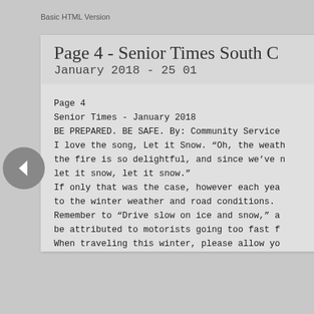Basic HTML Version
Page 4 - Senior Times South C
January 2018 - 25 01
Page 4
Senior Times - January 2018
BE PREPARED. BE SAFE. By: Community Service
I love the song, Let it Snow. “Oh, the weath
the fire is so delightful, and since we’ve n
let it snow, let it snow.”
If only that was the case, however each yea
to the winter weather and road conditions.
Remember to “Drive slow on ice and snow,” a
be attributed to motorists going too fast f
When traveling this winter, please allow yo